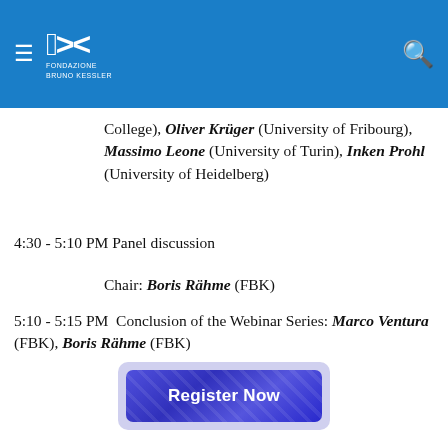Fondazione Bruno Kessler — navigation header
College), Oliver Krüger (University of Fribourg), Massimo Leone (University of Turin), Inken Prohl (University of Heidelberg)
4:30 - 5:10 PM Panel discussion
Chair: Boris Rähme (FBK)
5:10 - 5:15 PM  Conclusion of the Webinar Series: Marco Ventura (FBK), Boris Rähme (FBK)
[Figure (other): Register Now button — a blue gradient rectangular button with diagonal pattern texture and white bold text]